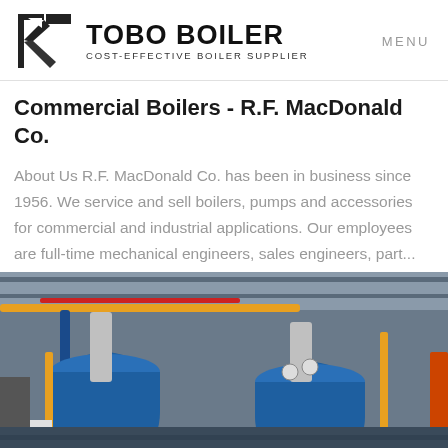TOBO BOILER — COST-EFFECTIVE BOILER SUPPLIER | MENU
Commercial Boilers - R.F. MacDonald Co.
About Us R.F. MacDonald Co. has been in business since 1956. We service and sell boilers, pumps and accessories for commercial and industrial applications. Our employees are full-time mechanical engineers, sales engineers, part...
Get Price
[Figure (photo): Industrial boiler room with multiple blue cylindrical boilers, yellow and red piping, gauges, and industrial fittings in a warehouse setting.]